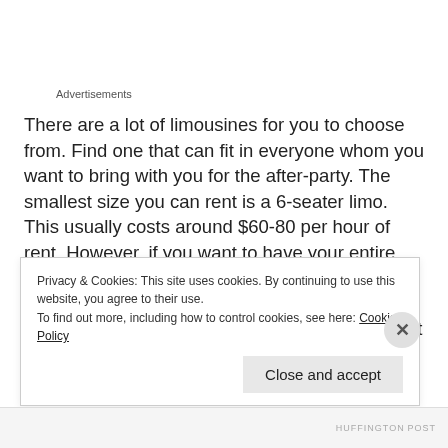Advertisements
There are a lot of limousines for you to choose from. Find one that can fit in everyone whom you want to bring with you for the after-party. The smallest size you can rent is a 6-seater limo. This usually costs around $60-80 per hour of rent. However, if you want to have your entire group of friends with you, go for a 10-person limo like the Chrysler 300C. It would cost a few more dollars per hour, but you definitely can't put a price tag on the memories you will
Privacy & Cookies: This site uses cookies. By continuing to use this website, you agree to their use.
To find out more, including how to control cookies, see here: Cookie Policy
Close and accept